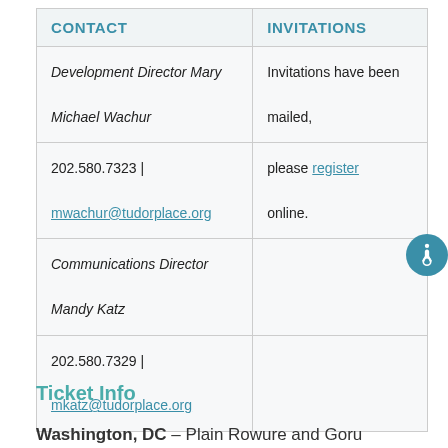| CONTACT | INVITATIONS |
| --- | --- |
| Development Director Mary Michael Wachur | Invitations have been mailed, |
| 202.580.7323 | mwachur@tudorplace.org | please register online. |
| Communications Director Mandy Katz |  |
| 202.580.7329 | mkatz@tudorplace.org |  |
Ticket Info
Washington, DC – Plain Rowure and Goru